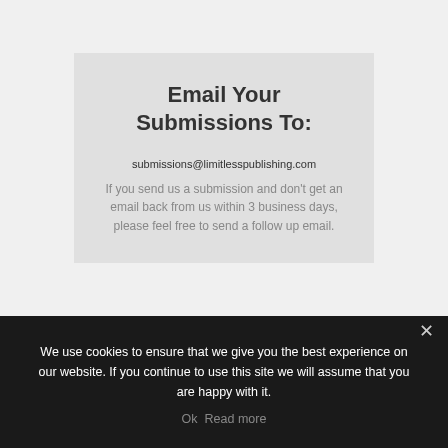Email Your Submissions To:
submissions@limitlesspublishing.com
If you send us a submission and don't get an email back from us within 3 business days, please feel free to send a follow up email.
We use cookies to ensure that we give you the best experience on our website. If you continue to use this site we will assume that you are happy with it.
Ok  Read more